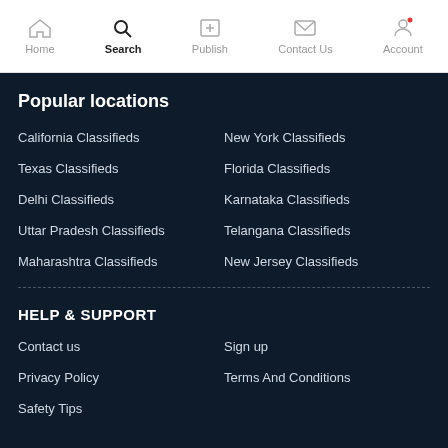Home | Search | Publish | Contact Us | Account
Popular locations
California Classifieds
New York Classifieds
Texas Classifieds
Florida Classifieds
Delhi Classifieds
Karnataka Classifieds
Uttar Pradesh Classifieds
Telangana Classifieds
Maharashtra Classifieds
New Jersey Classifieds
HELP & SUPPORT
Contact us
Sign up
Privacy Policy
Terms And Conditions
Safety Tips